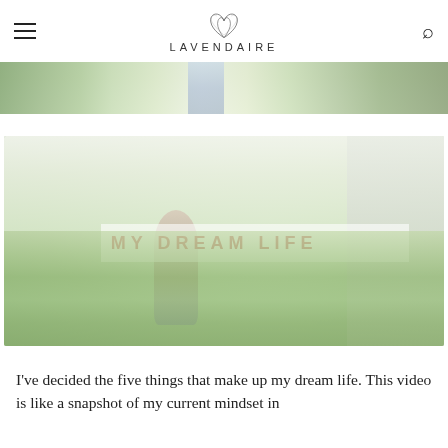LAVENDAIRE
[Figure (photo): Partial outdoor/garden photo strip showing a person in a blue dress among greenery]
[Figure (photo): Outdoor photo with a person standing in a garden/yard near a house, with text overlay reading MY DREAM LIFE]
I've decided the five things that make up my dream life. This video is like a snapshot of my current mindset in